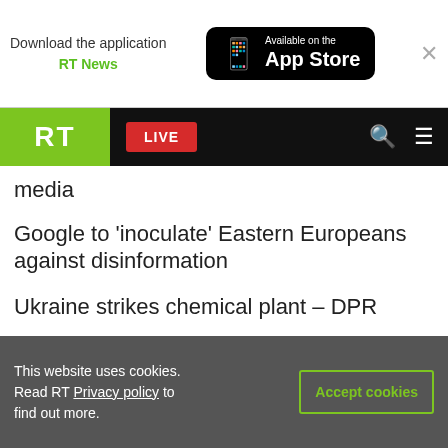Download the application RT News – Available on the App Store
RT LIVE
…media
Google to 'inoculate' Eastern Europeans against disinformation
Ukraine strikes chemical plant – DPR
Germans warned of toilet paper shortage
Pentagon issues update on supplying modern fighter jets to Ukraine
Saudi Arabia…the US…the UK…
This website uses cookies. Read RT Privacy policy to find out more.